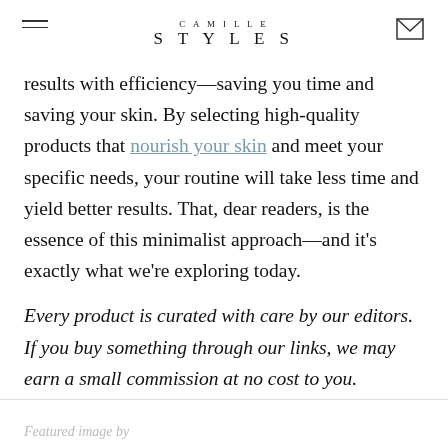CAMILLE STYLES
results with efficiency—saving you time and saving your skin. By selecting high-quality products that nourish your skin and meet your specific needs, your routine will take less time and yield better results. That, dear readers, is the essence of this minimalist approach—and it's exactly what we're exploring today.
Every product is curated with care by our editors. If you buy something through our links, we may earn a small commission at no cost to you.
Featured image by